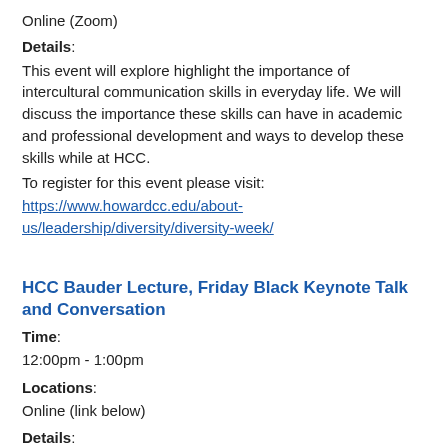Online (Zoom)
Details: This event will explore highlight the importance of intercultural communication skills in everyday life. We will discuss the importance these skills can have in academic and professional development and ways to develop these skills while at HCC.
To register for this event please visit:
https://www.howardcc.edu/about-us/leadership/diversity/diversity-week/
HCC Bauder Lecture, Friday Black Keynote Talk and Conversation
Time:
12:00pm - 1:00pm
Locations:
Online (link below)
Details:
HCC Bauder Lecture, Friday Black Keynote Talk and